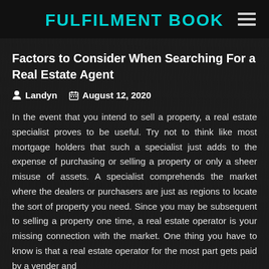FULFILMENT BOOK
Factors to Consider When Searching For a Real Estate Agent
Landyn   August 12, 2020
In the event that you intend to sell a property, a real estate specialist proves to be useful. Try not to think like most mortgage holders that such a specialist just adds to the expense of purchasing or selling a property or only a sheer misuse of assets. A specialist comprehends the market where the dealers or purchasers are just as regions to locate the sort of property you need. Since you may be subsequent to selling a property one time, a real estate operator is your missing connection with the market. One thing you have to know is that a real estate operator for the most part gets paid by a vender and